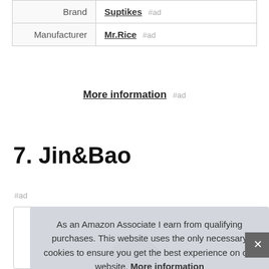|  |  |
| --- | --- |
| Brand | Suptikes #ad |
| Manufacturer | Mr.Rice #ad |
More information #ad
7. Jin&Bao
#ad
As an Amazon Associate I earn from qualifying purchases. This website uses the only necessary cookies to ensure you get the best experience on our website. More information